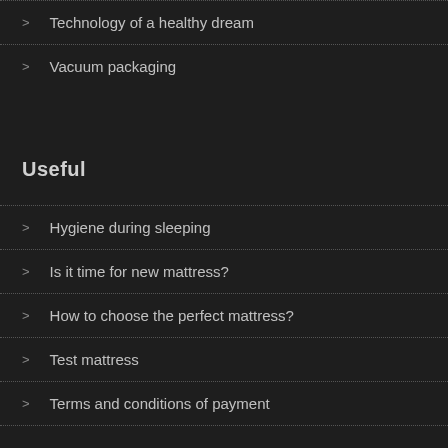Technology of a healthy dream
Vacuum packaging
Useful
Hygiene during sleeping
Is it time for new mattress?
How to choose the perfect mattress?
Test mattress
Terms and conditions of payment